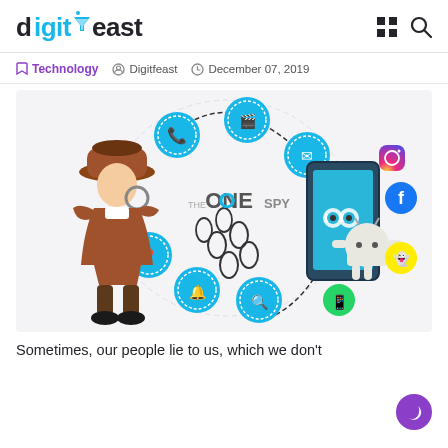digitfeast
Technology  Digitfeast  December 07, 2019
[Figure (illustration): TheOneSpy app promotional illustration: a cartoon detective in a brown coat and hat holding a magnifying glass, surrounded by social media and phone tracking icons in cyan circles connected by a dashed arc, next to a smartphone with Android robot and social media icons (Instagram, Facebook, Snapchat, WhatsApp). Footprint icons scattered in the middle. Text reads THE ONE SPY.]
Sometimes, our people lie to us, which we don't